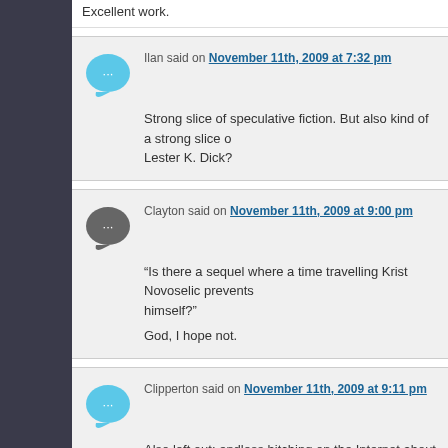Excellent work.
Ilan said on November 11th, 2009 at 7:32 pm
Strong slice of speculative fiction. But also kind of a strong slice of Lester K. Dick?
Clayton said on November 11th, 2009 at 9:00 pm
“Is there a sequel where a time travelling Krist Novoselic prevents himself?”

God, I hope not.
Clipperton said on November 11th, 2009 at 9:11 pm
Also left out: endless bitching on the Internet about how SNL was much they sucked and how they should have stayed broken up.
DukeOfAwesome said on November 12th, 2009 at 1:46 am
*SIGH* If only the Beatles were around in 2000 to release the Gre not Weezer…